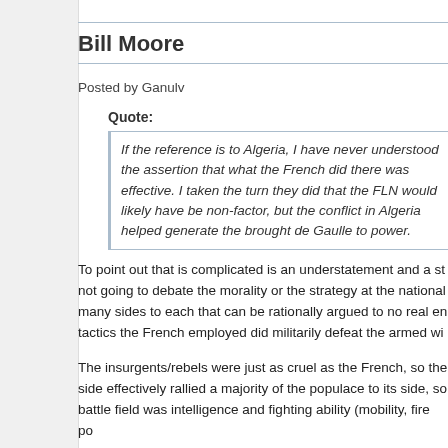Bill Moore
Posted by Ganulv
Quote:
If the reference is to Algeria, I have never understood the assertion that what the French did there was effective. I taken the turn they did that the FLN would likely have be non-factor, but the conflict in Algeria helped generate the brought de Gaulle to power.
To point out that is complicated is an understatement and a st not going to debate the morality or the strategy at the national many sides to each that can be rationally argued to no real en tactics the French employed did militarily defeat the armed wi
The insurgents/rebels were just as cruel as the French, so the side effectively rallied a majority of the populace to its side, so battle field was intelligence and fighting ability (mobility, fire po
Strategically the French were defeated for a lot of reasons, m politics on the home front.
However, issues with one's definition of CT, COIN, and FID